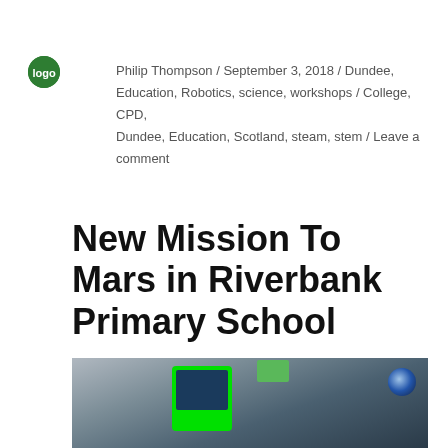Philip Thompson / September 3, 2018 / Dundee, Education, Robotics, science, workshops / College, CPD, Dundee, Education, Scotland, steam, stem / Leave a comment
New Mission To Mars in Riverbank Primary School
[Figure (photo): A classroom scene with a laptop/monitor with a bright green border/case in the foreground, a projector screen in the background, and a globe on a shelf to the right.]